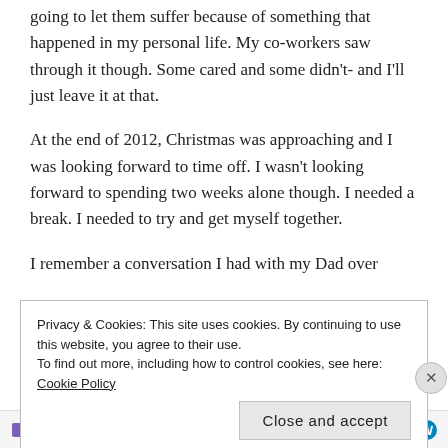going to let them suffer because of something that happened in my personal life. My co-workers saw through it though. Some cared and some didn't- and I'll just leave it at that.
At the end of 2012, Christmas was approaching and I was looking forward to time off. I wasn't looking forward to spending two weeks alone though. I needed a break. I needed to try and get myself together.
I remember a conversation I had with my Dad over
Privacy & Cookies: This site uses cookies. By continuing to use this website, you agree to their use.
To find out more, including how to control cookies, see here: Cookie Policy
Close and accept